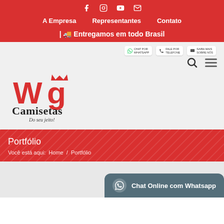Social icons: Facebook, Instagram, YouTube, Email
A Empresa | Representantes | Contato
| 🚚 Entregamos em todo Brasil
[Figure (logo): WG Camisetas logo - red stylized WG lettering with crown, black Camisetas text, italic tagline 'Do seu jeito!']
[Figure (infographic): Three contact/info badges: WhatsApp, phone, and certification/address info]
Portfólio
Você está aqui:  Home  /  Portfólio
Chat Online com Whatsapp